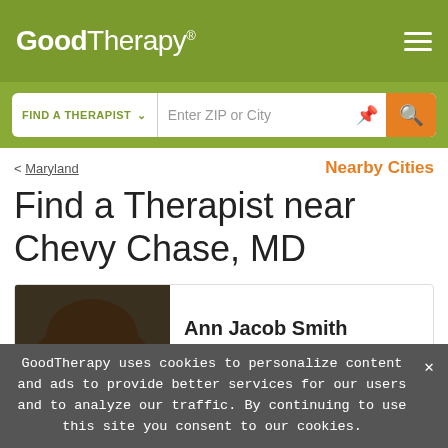GoodTherapy®
FIND A THERAPIST  ∨   Enter ZIP or City
< Maryland   Nearby Cities
Find a Therapist near Chevy Chase, MD
[Figure (photo): Portrait photo of Ann Jacob Smith, a woman with dark brown hair, smiling]
Ann Jacob Smith
Licensed Clinical Professional Counselor
Psychotherapist
GoodTherapy uses cookies to personalize content and ads to provide better services for our users and to analyze our traffic. By continuing to use this site you consent to our cookies.